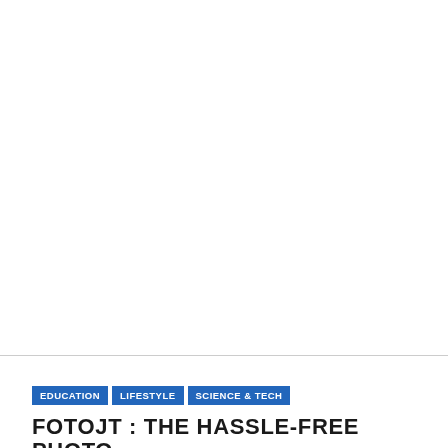[Figure (photo): Large white/blank image area taking up the top portion of the page]
EDUCATION | LIFESTYLE | SCIENCE & TECH
FOTOJT : THE HASSLE-FREE PHOTO